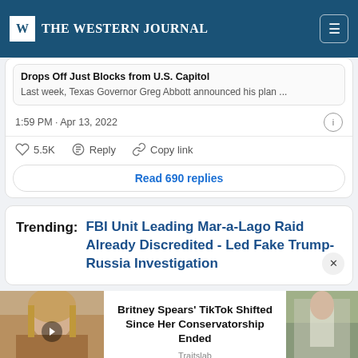THE WESTERN JOURNAL
Drops Off Just Blocks from U.S. Capitol
Last week, Texas Governor Greg Abbott announced his plan ...
1:59 PM · Apr 13, 2022
♡ 5.5K   Reply   Copy link
Read 690 replies
Trending: FBI Unit Leading Mar-a-Lago Raid Already Discredited - Led Fake Trump-Russia Investigation
Britney Spears' TikTok Shifted Since Her Conservatorship Ended
Traitslab